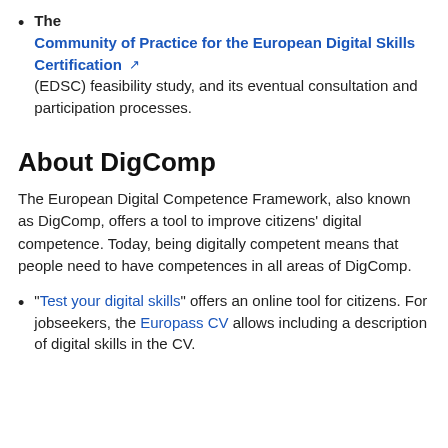The Community of Practice for the European Digital Skills Certification (EDSC) feasibility study, and its eventual consultation and participation processes.
About DigComp
The European Digital Competence Framework, also known as DigComp, offers a tool to improve citizens' digital competence. Today, being digitally competent means that people need to have competences in all areas of DigComp.
"Test your digital skills" offers an online tool for citizens. For jobseekers, the Europass CV allows including a description of digital skills in the CV.